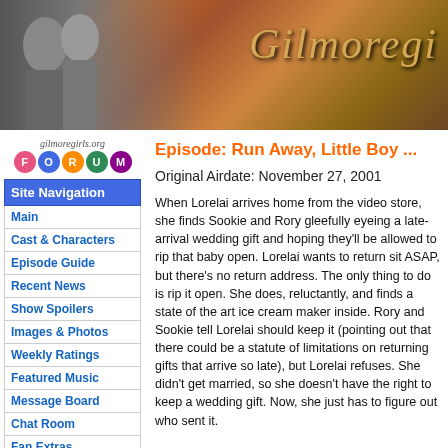[Figure (photo): Gilmore Girls website banner with two female characters and 'Gilmoregirls' text logo on a dark warm background]
[Figure (logo): gilmoregirls.org FORUM logo with colorful letter bubbles]
Site Navigation
Main
Cast & Characters
Episode Guide
Recent News
Show Spoilers
Images & Photos
Weekly Ratings
Featured Music
Message Board
Chat Room
Fan Extras
Show Fashion
Episode: Run Away, Little Boy ...
Original Airdate: November 27, 2001
When Lorelai arrives home from the video store, she finds Sookie and Rory gleefully eyeing a late-arrival wedding gift and hoping they'll be allowed to rip that baby open. Lorelai wants to return sit ASAP, but there's no return address. The only thing to do is rip it open. She does, reluctantly, and finds a state of the art ice cream maker inside. Rory and Sookie tell Lorelai should keep it (pointing out that there could be a statute of limitations on returning gifts that arrive so late), but Lorelai refuses. She didn't get married, so she doesn't have the right to keep a wedding gift. Now, she just has to figure out who sent it.
At Chilton, Rory and the rest of the students are given an assignment to pick a scene from Romeo and Juliet and perform it with their group. Rory and Paris, plus sidekicks Madeline and Louise, have been assigned Act Five, the death scene. How appropriate. Of course, Paris is still being...